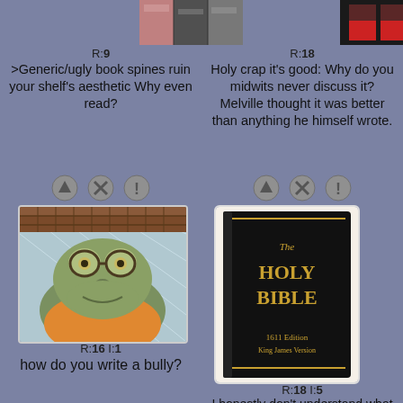[Figure (screenshot): Imageboard-style page showing four posts in a 2x2 grid layout on a grayish-blue background. Top-left post has abstract book spine thumbnail, rating R:9, text about generic/ugly book spines. Top-right post has dark thumbnail, rating R:18, text about Holy crap it's good Melville. Bottom-left post has cartoon frog/toad image, rating R:16 I:1, text about writing a bully. Bottom-right post has Holy Bible 1611 Edition image, rating R:18 I:5, text about not understanding what you can get from other books.]